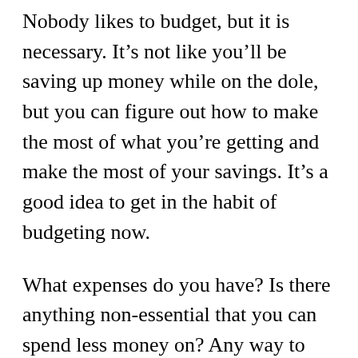Nobody likes to budget, but it is necessary. It's not like you'll be saving up money while on the dole, but you can figure out how to make the most of what you're getting and make the most of your savings. It's a good idea to get in the habit of budgeting now.
What expenses do you have? Is there anything non-essential that you can spend less money on? Any way to save on the essentials? This might mean cancelling subscriptions to streaming services, switching to a cheaper phone plan, making coffee or tea yourself at home, switching to shopping at Aldi or Lidl, or buying clothing